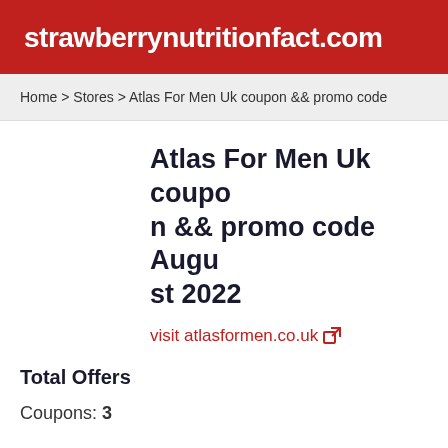strawberrynutritionfact.com
Home > Stores > Atlas For Men Uk coupon && promo code
Atlas For Men Uk coupon && promo code August 2022
visit atlasformen.co.uk
Total Offers
Coupons: 3